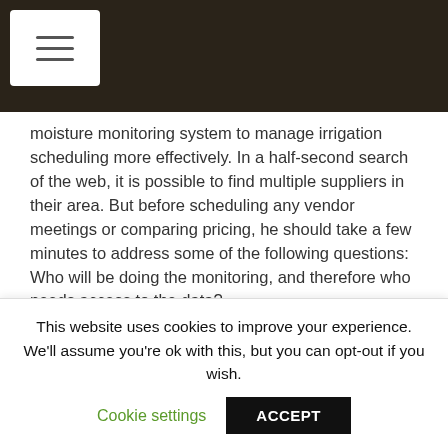[hamburger menu icon]
moisture monitoring system to manage irrigation scheduling more effectively. In a half-second search of the web, it is possible to find multiple suppliers in their area. But before scheduling any vendor meetings or comparing pricing, he should take a few minutes to address some of the following questions:
Who will be doing the monitoring, and therefore who needs access to the data?
What desktop or mobile devices/operating systems are compatible? Can I or my employees access the
This website uses cookies to improve your experience. We'll assume you're ok with this, but you can opt-out if you wish.
Cookie settings    ACCEPT